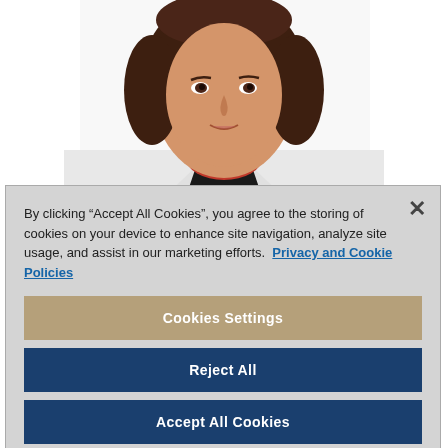[Figure (photo): Professional headshot of a female doctor wearing a white lab coat over a black top with a red textured collar, with shoulder-length dark brown hair, against a white background.]
By clicking “Accept All Cookies”, you agree to the storing of cookies on your device to enhance site navigation, analyze site usage, and assist in our marketing efforts. Privacy and Cookie Policies
Cookies Settings
Reject All
Accept All Cookies